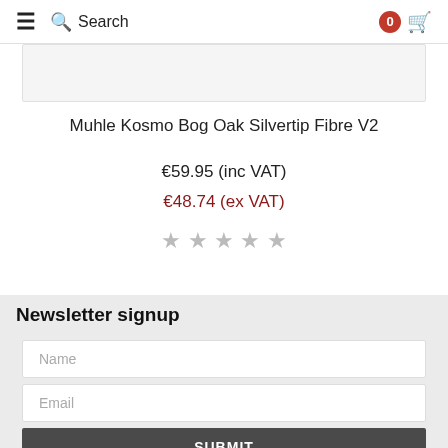Search
[Figure (other): Product image placeholder area]
Muhle Kosmo Bog Oak Silvertip Fibre V2
€59.95 (inc VAT)
€48.74 (ex VAT)
[Figure (other): Five grey star rating icons]
Newsletter signup
Name
Email
SUBMIT
Further info